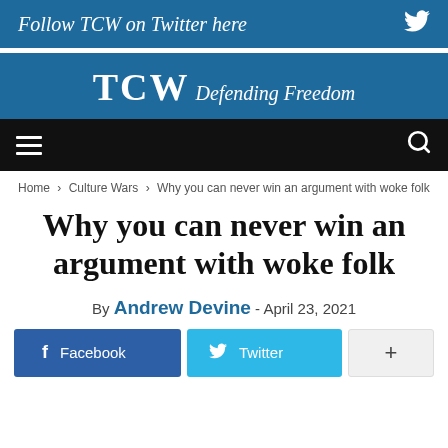Follow TCW on Twitter here
TCW Defending Freedom
Home › Culture Wars › Why you can never win an argument with woke folk
Why you can never win an argument with woke folk
By Andrew Devine - April 23, 2021
[Figure (other): Social share buttons: Facebook, Twitter, and a plus button]